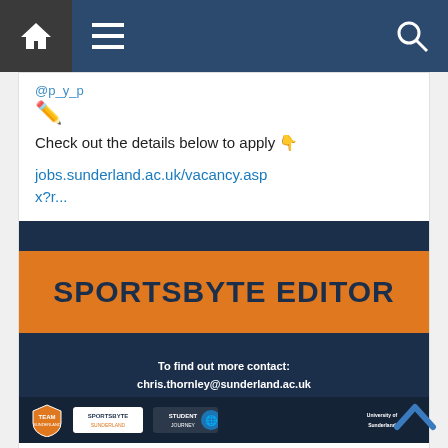Navigation bar with home, menu, and search icons
✏️
Check out the details below to apply 👇
jobs.sunderland.ac.uk/vacancy.aspx?r...
[Figure (infographic): SPORTSBYTE EDITOR promotional banner with dark blue background and orange title band. Text: To find out more contact: chris.thornley@sunderland.ac.uk. Logos at bottom: Team Sunderland, Sportsbyte Sunderland, Student Journey, University of Sunderland.]
University of Sunderland and Sunderland Futures
Comment icon  ♡ 3